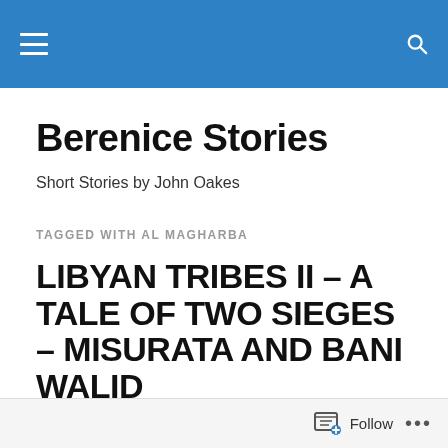Berenice Stories — site navigation header bar
Berenice Stories
Short Stories by John Oakes
TAGGED WITH AL MAGHARBA
LIBYAN TRIBES II – A TALE OF TWO SIEGES – MISURATA AND BANI WALID
The Battle of Misurata between Gaddafi's forces and the '17th February Rebels' was bloody and brutal and lasted
Follow •••